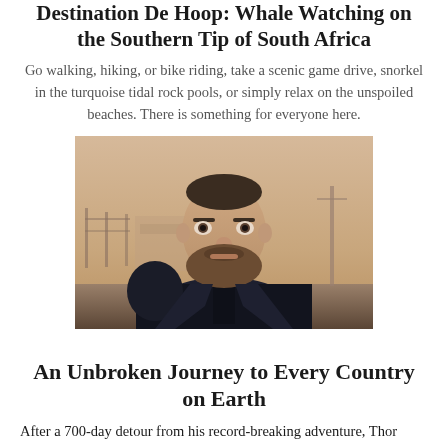Destination De Hoop: Whale Watching on the Southern Tip of South Africa
Go walking, hiking, or bike riding, take a scenic game drive, snorkel in the turquoise tidal rock pools, or simply relax on the unspoiled beaches. There is something for everyone here.
[Figure (photo): Selfie of a bearded man with a backpack in a dusty/hazy outdoor environment. Fencing and a utility pole visible in the background.]
An Unbroken Journey to Every Country on Earth
After a 700-day detour from his record-breaking adventure, Thor